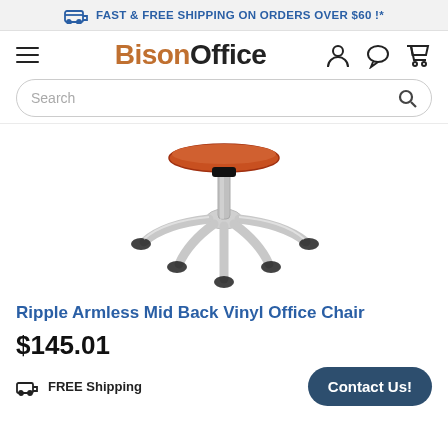FAST & FREE SHIPPING ON ORDERS OVER $60 !*
[Figure (logo): BisonOffice logo with hamburger menu and navigation icons (user, chat, cart)]
[Figure (screenshot): Search bar with rounded border and magnifier icon]
[Figure (photo): Bottom view of a Ripple Armless Mid Back Vinyl Office Chair showing chrome five-star base with casters and orange seat, on white background]
Ripple Armless Mid Back Vinyl Office Chair
$145.01
FREE Shipping
Contact Us!